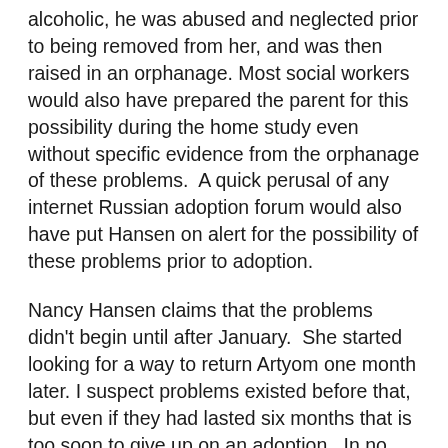alcoholic, he was abused and neglected prior to being removed from her, and was then raised in an orphanage. Most social workers would also have prepared the parent for this possibility during the home study even without specific evidence from the orphanage of these problems.  A quick perusal of any internet Russian adoption forum would also have put Hansen on alert for the possibility of these problems prior to adoption.
Nancy Hansen claims that the problems didn't begin until after January.  She started looking for a way to return Artyom one month later. I suspect problems existed before that, but even if they had lasted six months that is too soon to give up on an adoption.  In no way do I minimize the pain, the trauma, the hard unrewarding work of raising a child with either fetal alcohol syndrome or attachment disorders, or heaven forbid both.  Children with FAS and